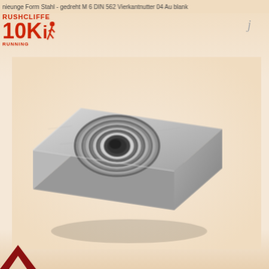nieunge Form Stahl - gedreht M 6 DIN 562 Vierkantnutter 04 Au blank
[Figure (logo): Rushcliffe 10K Running logo in red]
j
[Figure (photo): Close-up photograph of a square nut (Vierkantnutter), M6 DIN 562, steel bright/blank finish, showing threaded hole in center, viewed from a slight angle]